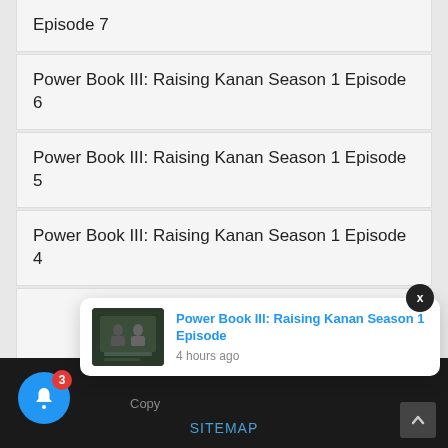Episode 7
Power Book III: Raising Kanan Season 1 Episode 6
Power Book III: Raising Kanan Season 1 Episode 5
Power Book III: Raising Kanan Season 1 Episode 4
[Figure (screenshot): Notification popup with thumbnail showing Power Book III: Raising Kanan Season 1 Episode, 4 hours ago]
Copy   SITEMAP